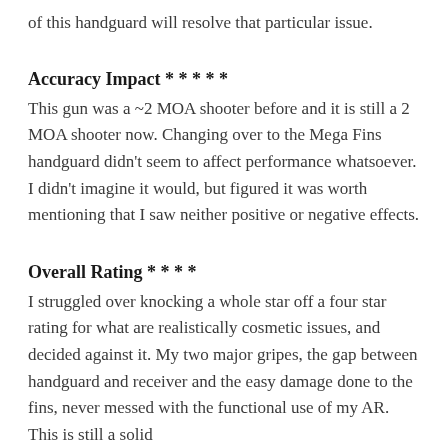of this handguard will resolve that particular issue.
Accuracy Impact * * * * *
This gun was a ~2 MOA shooter before and it is still a 2 MOA shooter now. Changing over to the Mega Fins handguard didn't seem to affect performance whatsoever. I didn't imagine it would, but figured it was worth mentioning that I saw neither positive or negative effects.
Overall Rating * * * *
I struggled over knocking a whole star off a four star rating for what are realistically cosmetic issues, and decided against it. My two major gripes, the gap between handguard and receiver and the easy damage done to the fins, never messed with the functional use of my AR. This is still a solid